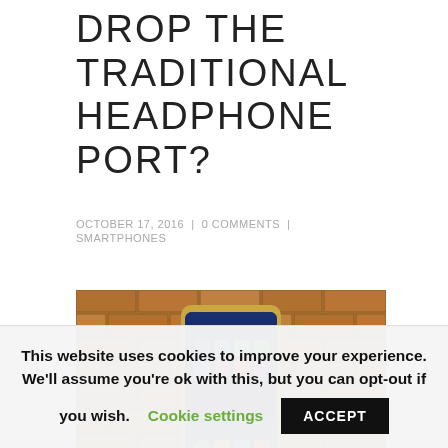DROP THE TRADITIONAL HEADPHONE PORT?
OCTOBER 17, 2016  |  0 COMMENTS  |  SMARTPHONES
[Figure (photo): A hand holding a Samsung Galaxy S7 smartphone against a brick wall background, showing the home screen with various app icons.]
This website uses cookies to improve your experience. We'll assume you're ok with this, but you can opt-out if you wish. Cookie settings ACCEPT